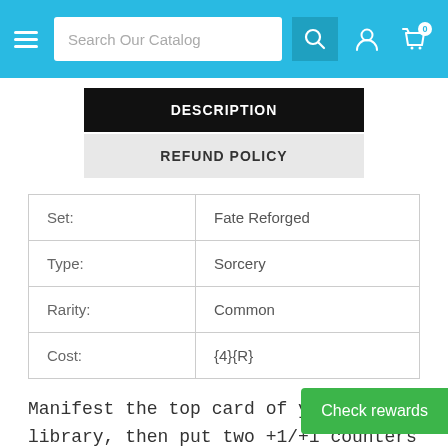Search Our Catalog
DESCRIPTION
REFUND POLICY
| Set: | Fate Reforged |
| Type: | Sorcery |
| Rarity: | Common |
| Cost: | {4}{R} |
Manifest the top card of your library, then put two +1/+1 counters on it. (To manifest a card, put it onto the battlefield face down as a Turn it face up any time for its ma